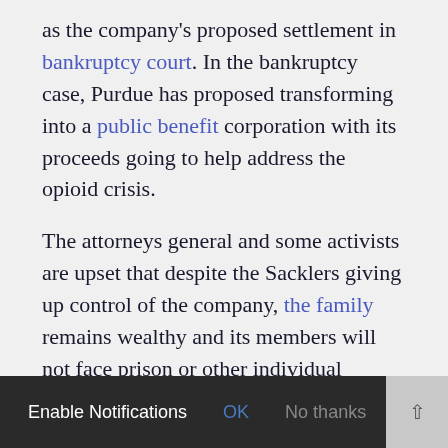as the company's proposed settlement in bankruptcy court. In the bankruptcy case, Purdue has proposed transforming into a public benefit corporation with its proceeds going to help address the opioid crisis.

The attorneys general and some activists are upset that despite the Sacklers giving up control of the company, the family remains wealthy and its members will not face prison or other individual penalties.

The activists say there's no difference between the actions of the company and its [notification bar overlay] 's board until the past few years.